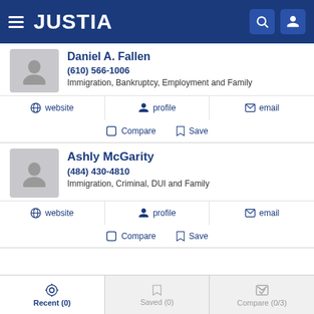JUSTIA
Daniel A. Fallen
(610) 566-1006
Immigration, Bankruptcy, Employment and Family
website | profile | email
Compare | Save
Ashly McGarity
(484) 430-4810
Immigration, Criminal, DUI and Family
website | profile | email
Compare | Save
Recent (0) | Saved (0) | Compare (0/3)